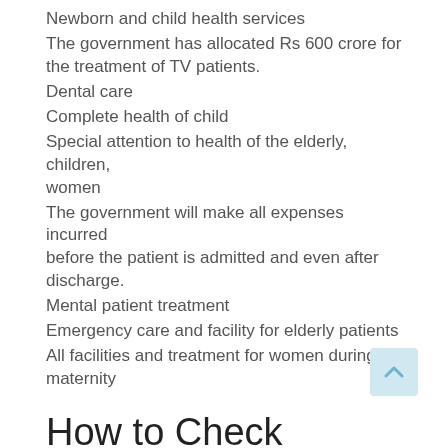Newborn and child health services
The government has allocated Rs 600 crore for the treatment of TV patients.
Dental care
Complete health of child
Special attention to health of the elderly, children, women
The government will make all expenses incurred before the patient is admitted and even after discharge.
Mental patient treatment
Emergency care and facility for elderly patients
All facilities and treatment for women during maternity
How to Check Ayushman Bharat